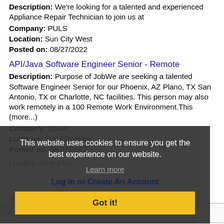Description: We're looking for a talented and experienced Appliance Repair Technician to join us at
Company: PULS
Location: Sun City West
Posted on: 08/27/2022
API/Java Software Engineer Senior - Remote
Description: Purpose of JobWe are seeking a talented Software Engineer Senior for our Phoenix, AZ Plano, TX San Antonio, TX or Charlotte, NC facilities. This person may also work remotely in a 100 Remote Work Environment.This (more...)
Company: USAA
Location: Sun City West
Posted on: 08/27/2022
Loading more jobs...
This website uses cookies to ensure you get the best experience on our website.
Learn more
Log In or Create An Account
Got it!
Username: